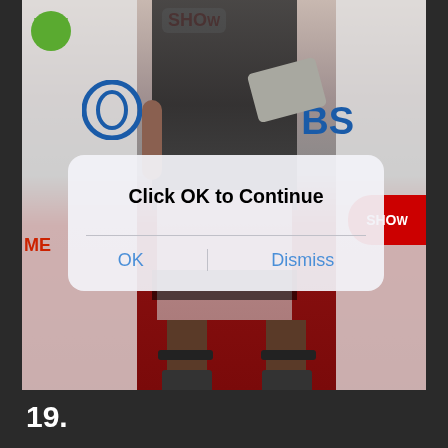[Figure (photo): A photo of a person standing on a red carpet at a CBS/Showtime event, wearing a black and pink outfit with heels, holding a gray clutch. The background shows event banners with CBS and Showtime logos.]
Click OK to Continue
OK
Dismiss
19.